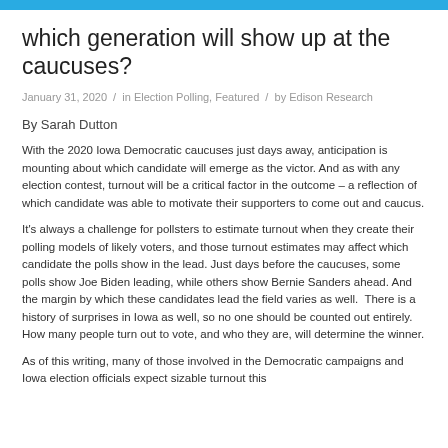which generation will show up at the caucuses?
January 31, 2020 / in Election Polling, Featured / by Edison Research
By Sarah Dutton
With the 2020 Iowa Democratic caucuses just days away, anticipation is mounting about which candidate will emerge as the victor. And as with any election contest, turnout will be a critical factor in the outcome – a reflection of which candidate was able to motivate their supporters to come out and caucus.
It's always a challenge for pollsters to estimate turnout when they create their polling models of likely voters, and those turnout estimates may affect which candidate the polls show in the lead. Just days before the caucuses, some polls show Joe Biden leading, while others show Bernie Sanders ahead. And the margin by which these candidates lead the field varies as well.  There is a history of surprises in Iowa as well, so no one should be counted out entirely. How many people turn out to vote, and who they are, will determine the winner.
As of this writing, many of those involved in the Democratic campaigns and Iowa election officials expect sizable turnout this